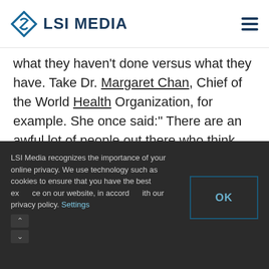LSI MEDIA
what they haven't done versus what they have. Take Dr. Margaret Chan, Chief of the World Health Organization, for example. She once said:“ There are an awful lot of people out there who think I'm an expert. How do these people believe all this about me? I'm so much aware of all the things I don't know.”
LSI Media recognizes the importance of your online privacy. We use technology such as cookies to ensure that you have the best experience on our website, in accordance with our privacy policy. Settings